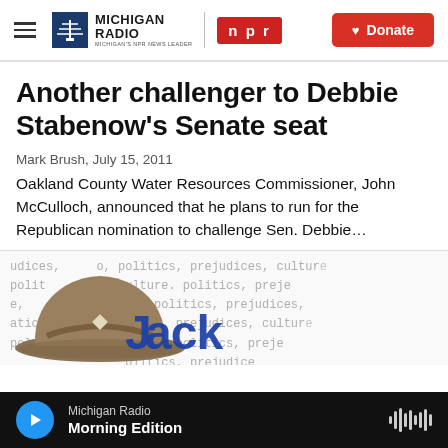Michigan Radio | NPR — Donate
Another challenger to Debbie Stabenow's Senate seat
Mark Brush,  July 15, 2011
Oakland County Water Resources Commissioner, John McCulloch, announced that he plans to run for the Republican nomination to challenge Sen. Debbie…
[Figure (illustration): Preview image showing a brown fedora hat over text background with words 'politics, prejudices, culture' repeating, and blue block letters spelling 'Jack' partially visible]
Michigan Radio — Morning Edition (audio player)